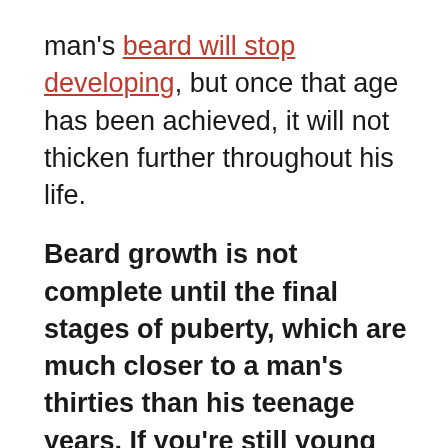man's beard will stop developing, but once that age has been achieved, it will not thicken further throughout his life.
Beard growth is not complete until the final stages of puberty, which are much closer to a man's thirties than his teenage years. If you're still young and unsatisfied with the fullness of your beard, it could fill out as you age. Patience is the first rule of facial hair.
If you are just nearing or entering your